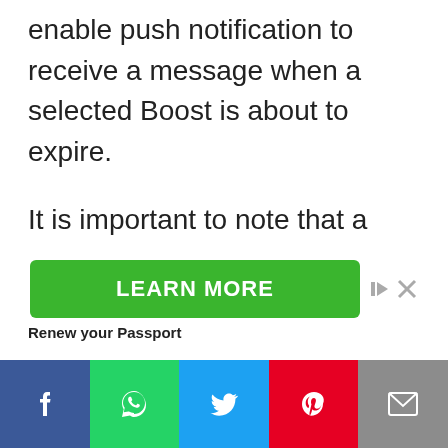enable push notification to receive a message when a selected Boost is about to expire.
It is important to note that a boost may expire for you, but still be available to other Cash App users.
[Figure (screenshot): Green LEARN MORE advertisement button with ad controls (play and close icons) to the right, and 'Renew your Passport' text below]
[Figure (infographic): Social sharing bar with five buttons: Facebook (blue), WhatsApp (green), Twitter (blue), Pinterest (red), Email (grey)]